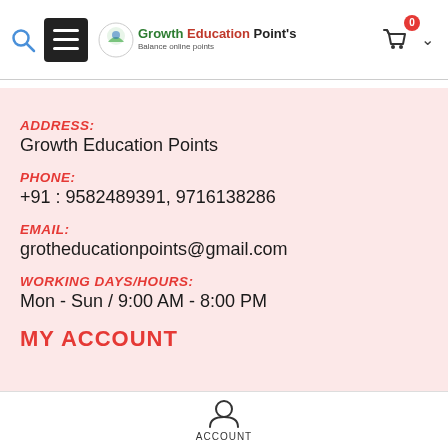[Figure (screenshot): Navigation bar with search icon, hamburger menu button, Growth Education Points logo, shopping cart with badge showing 0, and chevron dropdown]
[Figure (other): Filter/sidebar toggle button with three horizontal lines with adjustment knobs]
ADDRESS:
Growth Education Points
PHONE:
+91 : 9582489391, 9716138286
EMAIL:
grotheducationpoints@gmail.com
WORKING DAYS/HOURS:
Mon - Sun / 9:00 AM - 8:00 PM
MY ACCOUNT
ACCOUNT